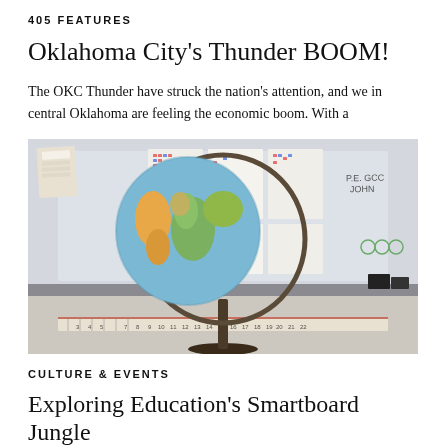405 FEATURES
Oklahoma City's Thunder BOOM!
The OKC Thunder have struck the nation's attention, and we in central Oklahoma are feeling the economic boom. With a
[Figure (photo): A colorful world globe on a stand in a classroom, with papers and charts pinned to a whiteboard in the background and a ruler/number line visible along the bottom.]
CULTURE & EVENTS
Exploring Education's Smartboard Jungle